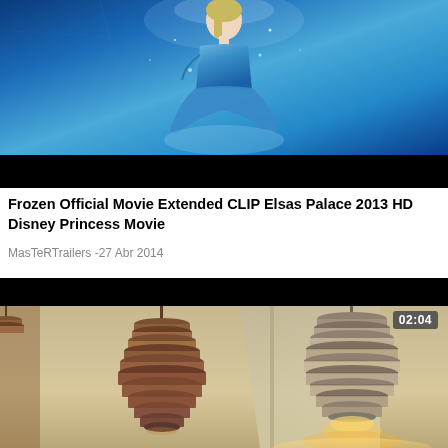[Figure (screenshot): Video thumbnail showing Elsa from Disney's Frozen movie, blue glowing background with black bar at bottom]
Frozen Official Movie Extended CLIP Elsas Palace 2013 HD Disney Princess Movie
MasTeRTrailers -27 Abr 2014
[Figure (screenshot): Video thumbnail showing animated lanterns/ceiling lights hanging from above, warm yellow lighting at bottom, duration badge showing 02:04]